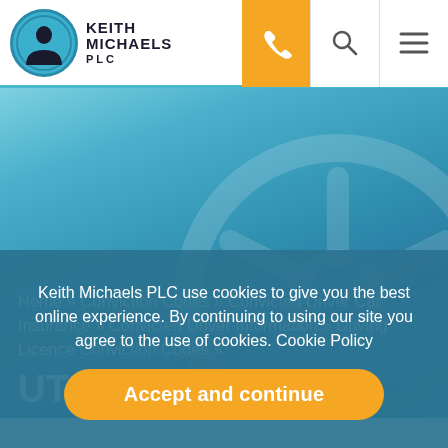Keith Michaels PLC
Home » Conviction Codes » Convicted Driver Car Insurance » Convicted Driver Information » Driving Licence Conviction Codes »
UTre Car Insurance
Keith Michaels PLC use cookies to give you the best online experience. By continuing to using our site you agree to the use of cookies. Cookie Policy
Accept and continue